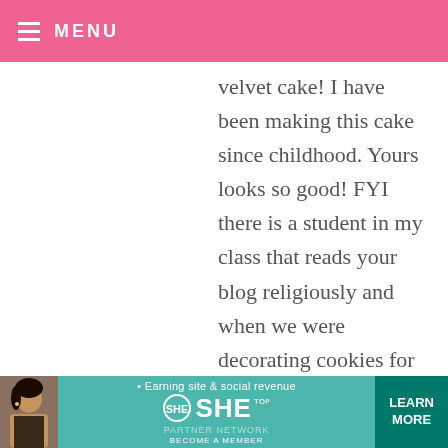MENU
velvet cake! I have been making this cake since childhood. Yours looks so good! FYI there is a student in my class that reads your blog religiously and when we were decorating cookies for Valentine's Day her group won the contest!! I called her little Bakerella!!!
DOREE — FEBRUARY 23, 2010 @ 7:28 AM REPLY
This is amazing! I have been looking at
[Figure (infographic): Advertisement banner for SHE Media Partner Network with teal background, photo of woman, SHE logo, tagline 'Earning site & social revenue', and 'LEARN MORE' button]